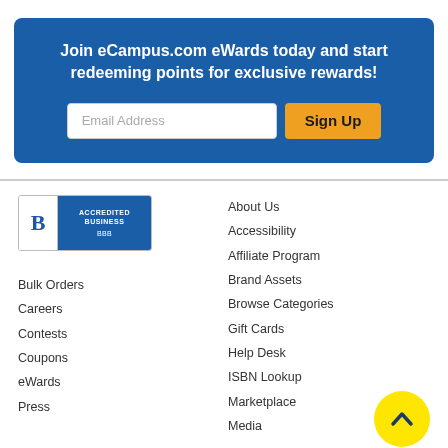Join eCampus.com eWards today and start redeeming points for exclusive rewards!
[Figure (logo): BBB Accredited Business badge]
About Us
Accessibility
Affiliate Program
Brand Assets
Browse Categories
Bulk Orders
Gift Cards
Careers
Help Desk
Contests
ISBN Lookup
Coupons
Marketplace
eWards
Media
Press